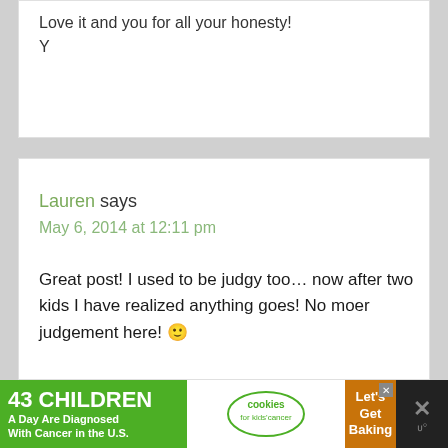Love it and you for all your honesty!
Y
Lauren says
May 6, 2014 at 12:11 pm
Great post! I used to be judgy too… now after two kids I have realized anything goes! No moer judgement here! 🙂
[Figure (infographic): Advertisement banner: '43 CHILDREN A Day Are Diagnosed With Cancer in the U.S.' with cookies for kids' cancer logo and 'Let's Get Baking' call to action on brown background]